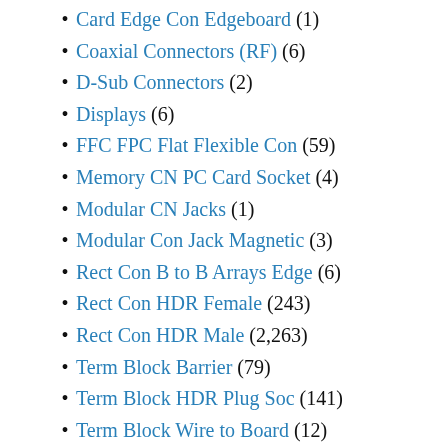Card Edge Con Edgeboard (1)
Coaxial Connectors (RF) (6)
D-Sub Connectors (2)
Displays (6)
FFC FPC Flat Flexible Con (59)
Memory CN PC Card Socket (4)
Modular CN Jacks (1)
Modular Con Jack Magnetic (3)
Rect Con B to B Arrays Edge (6)
Rect Con HDR Female (243)
Rect Con HDR Male (2,263)
Term Block Barrier (79)
Term Block HDR Plug Soc (141)
Term Block Wire to Board (12)
USB DVI HDMI Connectors (18)
Crystals (33)
CR Corner Concave 2 Pins (5)